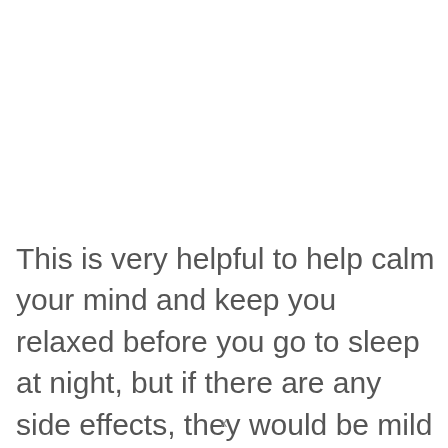This is very helpful to help calm your mind and keep you relaxed before you go to sleep at night, but if there are any side effects, they would be mild and usually only last for a few hours.
x